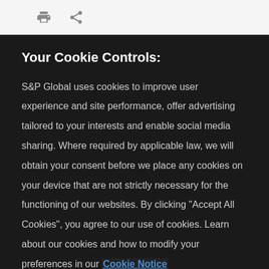[print icon] [share icon]
Your Cookie Controls:
S&P Global uses cookies to improve user experience and site performance, offer advertising tailored to your interests and enable social media sharing. Where required by applicable law, we will obtain your consent before we place any cookies on your device that are not strictly necessary for the functioning of our websites. By clicking "Accept All Cookies", you agree to our use of cookies. Learn about our cookies and how to modify your preferences in our Cookie Notice